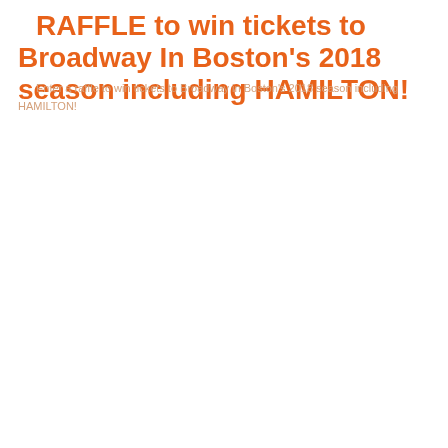RAFFLE to win tickets to Broadway In Boston's 2018 season including HAMILTON!
Enter a raffle to win tickets to Broadway in Boston's 2018 season including HAMILTON!